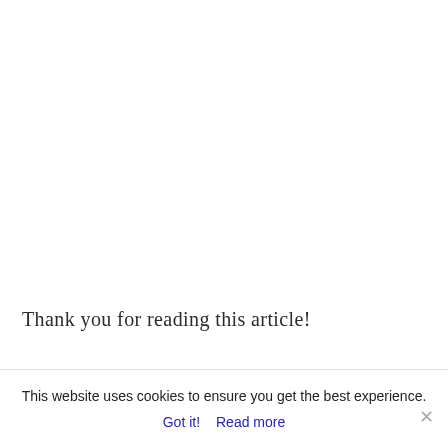Thank you for reading this article!
This website uses cookies to ensure you get the best experience.
Got it!   Read more